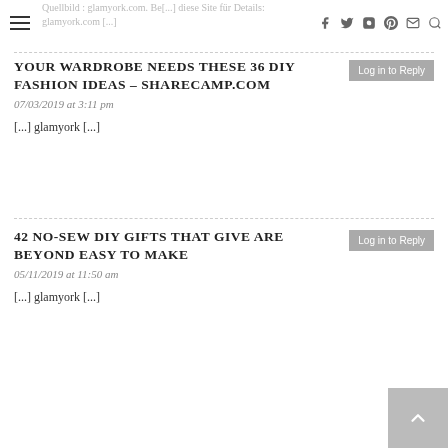Quellbild: glamyork.com. Be[...] diese Site für Details: glamyork.com [...]
YOUR WARDROBE NEEDS THESE 36 DIY FASHION IDEAS - SHARECAMP.COM
07/03/2019 at 3:11 pm
[...] glamyork [...]
42 NO-SEW DIY GIFTS THAT GIVE ARE BEYOND EASY TO MAKE
05/11/2019 at 11:50 am
[...] glamyork [...]